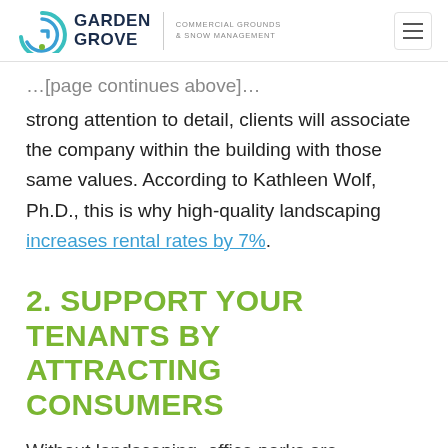Garden Grove | Commercial Grounds & Snow Management
strong attention to detail, clients will associate the company within the building with those same values. According to Kathleen Wolf, Ph.D., this is why high-quality landscaping increases rental rates by 7%.
2. SUPPORT YOUR TENANTS BY ATTRACTING CONSUMERS
Without landscaping, office parks are notoriously